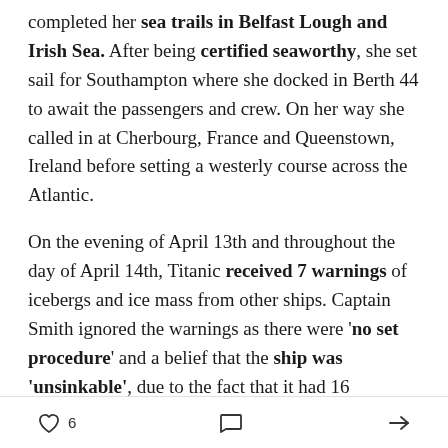completed her sea trials in Belfast Lough and Irish Sea. After being certified seaworthy, she set sail for Southampton where she docked in Berth 44 to await the passengers and crew. On her way she called in at Cherbourg, France and Queenstown, Ireland before setting a westerly course across the Atlantic.
On the evening of April 13th and throughout the day of April 14th, Titanic received 7 warnings of icebergs and ice mass from other ships. Captain Smith ignored the warnings as there were 'no set procedure' and a belief that the ship was 'unsinkable', due to the fact that it had 16 watertight compartments.
At 11:40 pm she collided with an iceberg, damaging her hull and starboard side. At 2:20 pm on 15th April 1912.
♡ 6  💬  ➤